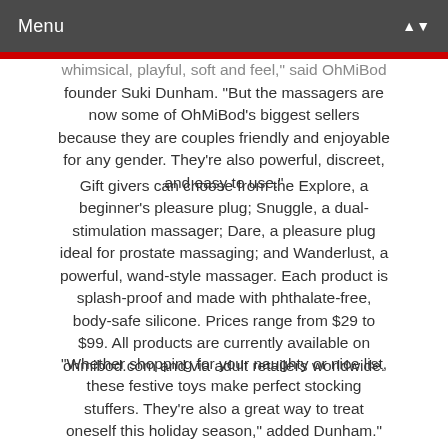Menu
whimsical, playful, soft and feel," said OhMiBod founder Suki Dunham. “But the massagers are now some of OhMiBod’s biggest sellers because they are couples friendly and enjoyable for any gender. They’re also powerful, discreet, and easy to use.”
Gift givers can choose from the Explore, a beginner's pleasure plug; Snuggle, a dual-stimulation massager; Dare, a pleasure plug ideal for prostate massaging; and Wanderlust, a powerful, wand-style massager. Each product is splash-proof and made with phthalate-free, body-safe silicone. Prices range from $29 to $99. All products are currently available on ohmibod.com and via adult retailers worldwide.
“Whether shopping for your naughty or nice list, these festive toys make perfect stocking stuffers. They’re also a great way to treat oneself this holiday season,” added Dunham.”